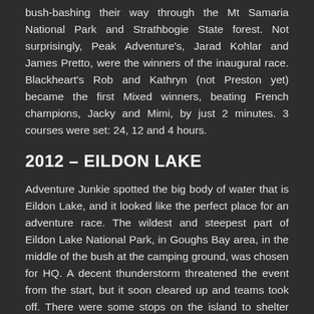bush-bashing their way through the Mt Samaria National Park and Strathbogie State forest. Not surprisingly, Peak Adventure's, Jarad Kohlar and James Pretto, were the winners of the inaugural race. Blackheart's Rob and Kathryn (not Preston yet) became the first Mixed winners, beating French champions, Jacky and Mimi, by just 2 minutes. 3 courses were set: 24, 12 and 4 hours.
2012 – EILDON LAKE
Adventure Junkie spotted the big body of water that is Eildon Lake, and it looked like the perfect place for an adventure race. The wildest and steepest part of Eildon Lake National Park, in Goughs Bay area, in the middle of the bush at the camping ground, was chosen for HQ. A decent thunderstorm threatened the event from the start, but it soon cleared up and teams took off. There were some stops on the island to shelter from lightening later on, but everyone arrived back safely.  Once again, Team Peak Adventure, Jarad Kohalar, who had teamed